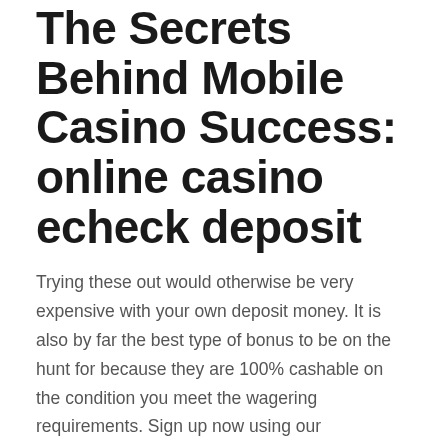The Secrets Behind Mobile Casino Success: online casino echeck deposit
Trying these out would otherwise be very expensive with your own deposit money. It is also by far the best type of bonus to be on the hunt for because they are 100% cashable on the condition you meet the wagering requirements. Sign up now using our promotional link and get instant rewards! In addition, get a 100% up to 500 EUR welcome bonus together with 100 extra free spins. These promotions come with 30x wagering requirements.